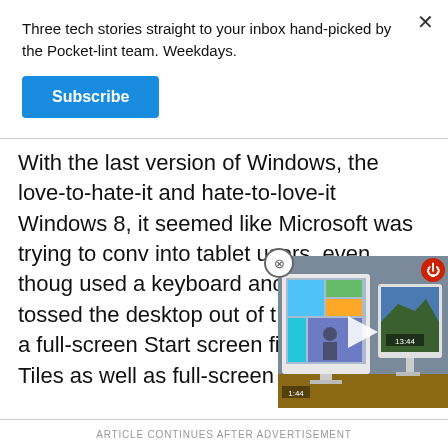Three tech stories straight to your inbox hand-picked by the Pocket-lint team. Weekdays.
Subscribe
With the last version of Windows, the love-to-hate-it and hate-to-love-it Windows 8, it seemed like Microsoft was trying to conv… into tablet users, even thoug… used a keyboard and mouse… 8 tossed the desktop out of t… replaced it with a full-screen Start screen filled with Live Tiles as well as full-screen apps.
[Figure (screenshot): Video player overlay showing two monitors on a desk, with a play button and timestamp 1:44 visible]
ARTICLE CONTINUES AFTER ADVERTISEMENT